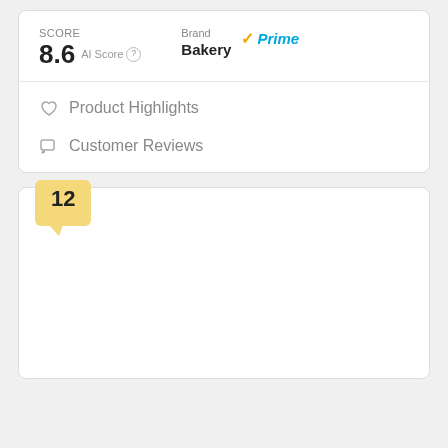SCORE 8.6 AI Score
Brand Prime Bakery
Product Highlights
Customer Reviews
12